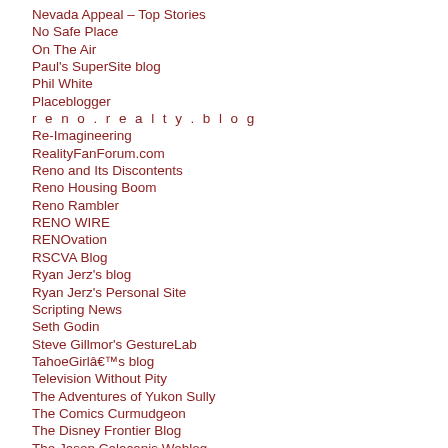Nevada Appeal – Top Stories
No Safe Place
On The Air
Paul's SuperSite blog
Phil White
Placeblogger
r e n o . r e a l t y . b l o g
Re-Imagineering
RealityFanForum.com
Reno and Its Discontents
Reno Housing Boom
Reno Rambler
RENO WIRE
RENOvation
RSCVA Blog
Ryan Jerz's blog
Ryan Jerz's Personal Site
Scripting News
Seth Godin
Steve Gillmor's GestureLab
TahoeGirlâ€™s blog
Television Without Pity
The Adventures of Yukon Sully
The Comics Curmudgeon
The Disney Frontier Blog
The Jason Calacanis Weblog
The Moser Family Blog
The Noodle Incident
The Record-Courier
The Round Up
The Urban Blog
thegoodthebadthespin.com
TV Guide Entertainment News
TV Squad
TWoP – The Telefile